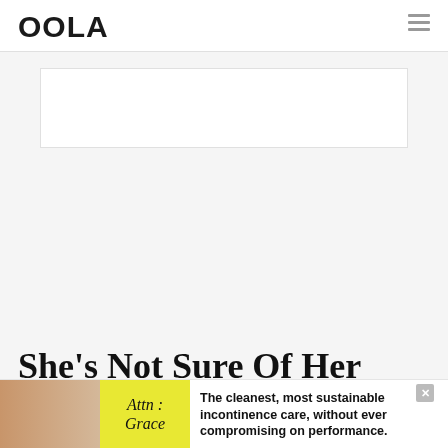OOLA
[Figure (other): Empty white advertisement placeholder box]
She’s Not Sure Of Her Next Move
[Figure (infographic): Bottom banner advertisement with image of person, yellow text panel reading 'Attn : Grace', and ad copy: 'The cleanest, most sustainable incontinence care, without ever compromising on performance.']